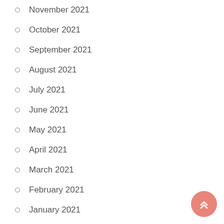November 2021
October 2021
September 2021
August 2021
July 2021
June 2021
May 2021
April 2021
March 2021
February 2021
January 2021
Categories